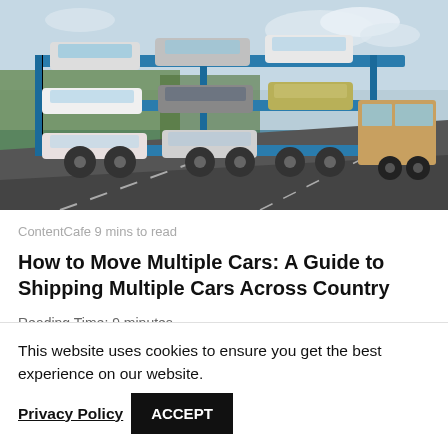[Figure (photo): A car carrier truck loaded with multiple cars driving on a highway road. The truck has a blue multi-deck frame carrying several cars. The background shows green trees and an overcast sky.]
ContentCafe 9 mins to read
How to Move Multiple Cars: A Guide to Shipping Multiple Cars Across Country
Reading Time: 9 minutes
What do you need to move multiple cars across state lines?
This website uses cookies to ensure you get the best experience on our website.
Privacy Policy
ACCEPT